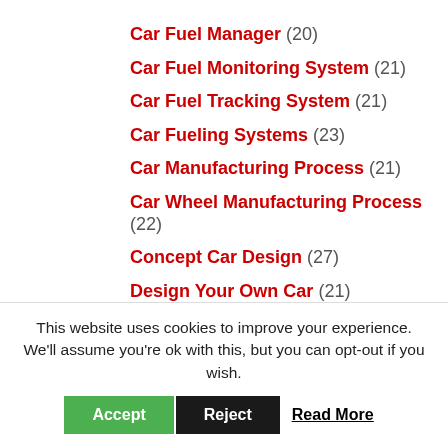Car Fuel Manager (20)
Car Fuel Monitoring System (21)
Car Fuel Tracking System (21)
Car Fueling Systems (23)
Car Manufacturing Process (21)
Car Wheel Manufacturing Process (22)
Concept Car Design (27)
Design Your Own Car (21)
Diesel Engine Design (22)
Efi Fuel Management System (20)
This website uses cookies to improve your experience. We'll assume you're ok with this, but you can opt-out if you wish.